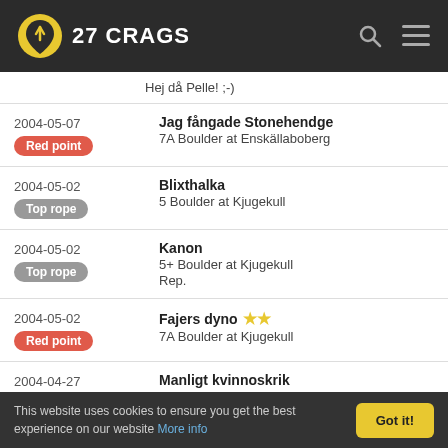27 CRAGS
Hej då Pelle! ;-)
2004-05-07 | Red point | Jag fångade Stonehendge | 7A Boulder at Enskällaboberg
2004-05-02 | Top rope | Blixthalka | 5 Boulder at Kjugekull
2004-05-02 | Top rope | Kanon | 5+ Boulder at Kjugekull | Rep.
2004-05-02 | Red point | Fajers dyno ★★ | 7A Boulder at Kjugekull
2004-04-27 | Top rope | Manligt kvinnoskrik | 5+ Boulder at Lerdala | En kväll i Lerdala
2004-04-10 | EQ sittstart
This website uses cookies to ensure you get the best experience on our website More info